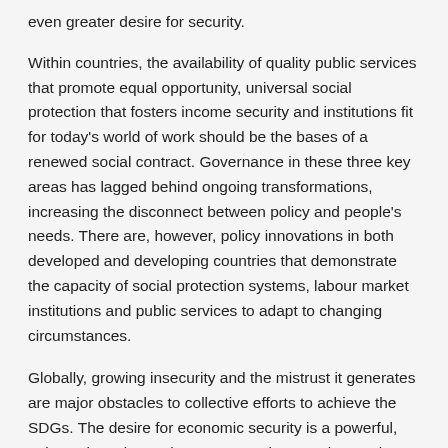even greater desire for security.
Within countries, the availability of quality public services that promote equal opportunity, universal social protection that fosters income security and institutions fit for today's world of work should be the bases of a renewed social contract. Governance in these three key areas has lagged behind ongoing transformations, increasing the disconnect between policy and people's needs. There are, however, policy innovations in both developed and developing countries that demonstrate the capacity of social protection systems, labour market institutions and public services to adapt to changing circumstances.
Globally, growing insecurity and the mistrust it generates are major obstacles to collective efforts to achieve the SDGs. The desire for economic security is a powerful, universal sentiment that most people can relate to, in both developed and developing countries. It is not only linked to poverty or disadvantage, but also to a growing gap between people's expectations and their actual situation. Because it affects so many people, a growing sense of